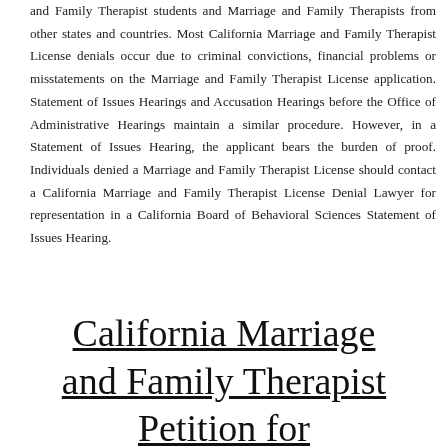and Family Therapist students and Marriage and Family Therapists from other states and countries. Most California Marriage and Family Therapist License denials occur due to criminal convictions, financial problems or misstatements on the Marriage and Family Therapist License application. Statement of Issues Hearings and Accusation Hearings before the Office of Administrative Hearings maintain a similar procedure. However, in a Statement of Issues Hearing, the applicant bears the burden of proof. Individuals denied a Marriage and Family Therapist License should contact a California Marriage and Family Therapist License Denial Lawyer for representation in a California Board of Behavioral Sciences Statement of Issues Hearing.
California Marriage and Family Therapist Petition for Reinstatement Lawyer